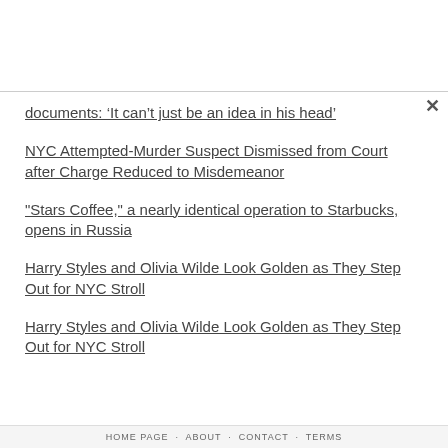documents: ‘It can’t just be an idea in his head’
NYC Attempted-Murder Suspect Dismissed from Court after Charge Reduced to Misdemeanor
"Stars Coffee," a nearly identical operation to Starbucks, opens in Russia
Harry Styles and Olivia Wilde Look Golden as They Step Out for NYC Stroll
Harry Styles and Olivia Wilde Look Golden as They Step Out for NYC Stroll
HOME PAGE · ABOUT · CONTACT · TERMS